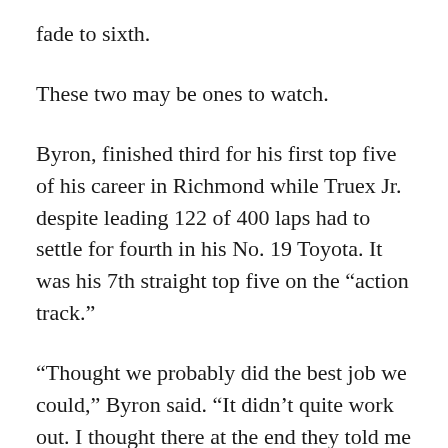fade to sixth.
These two may be ones to watch.
Byron, finished third for his first top five of his career in Richmond while Truex Jr. despite leading 122 of 400 laps had to settle for fourth in his No. 19 Toyota. It was his 7th straight top five on the “action track.”
“Thought we probably did the best job we could,” Byron said. “It didn’t quite work out. I thought there at the end they told me I was just racing the 19 (Martin Truex Jr.). I’m like OK I got him, but